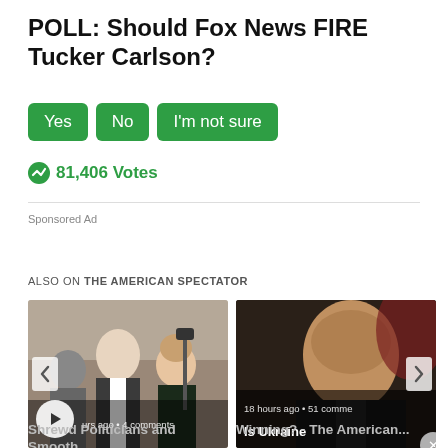POLL: Should Fox News FIRE Tucker Carlson?
[Figure (other): Poll answer buttons: Yes, No, I'm not sure (green rounded rectangles)]
81,406 Votes
Sponsored Ad
ALSO ON THE AMERICAN SPECTATOR
[Figure (photo): Card 1: Photo of Jared Kushner and Donald Trump at an event, with play button overlay, navigation arrow left, timestamp and comments text, title text below]
[Figure (photo): Card 2: Photo of Zelensky being interviewed, with navigation arrows, timestamp '18 hours ago • 51 comments', title 'Is Ukraine Winning? - The American...']
Shrewd Politicians and Smooth ...
Winning? - The American...